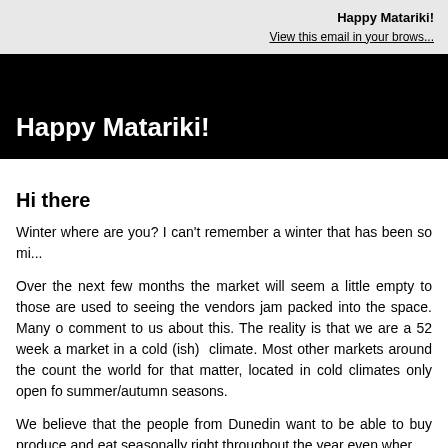Happy Matariki!
View this email in your brows...
Happy Matariki!
Hi there
Winter where are you? I can't remember a winter that has been so mi...
Over the next few months the market will seem a little empty to those are used to seeing the vendors jam packed into the space. Many o comment to us about this. The reality is that we are a 52 week a market in a cold (ish) climate. Most other markets around the count the world for that matter, located in cold climates only open fo summer/autumn seasons.
We believe that the people from Dunedin want to be able to buy produce and eat seasonally right throughout the year even wher...